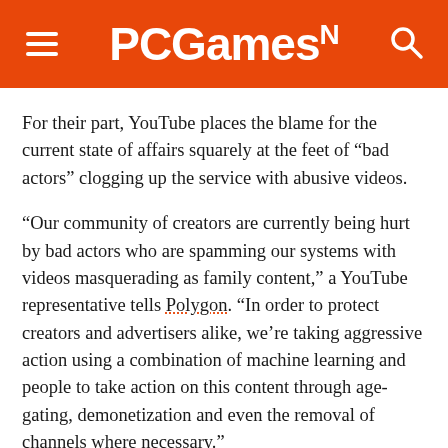PCGamesN
For their part, YouTube places the blame for the current state of affairs squarely at the feet of “bad actors” clogging up the service with abusive videos.
“Our community of creators are currently being hurt by bad actors who are spamming our systems with videos masquerading as family content,” a YouTube representative tells Polygon. “In order to protect creators and advertisers alike, we’re taking aggressive action using a combination of machine learning and people to take action on this content through age-gating, demonetization and even the removal of channels where necessary.”
YouTube say they’re working to protect profits for legitimate